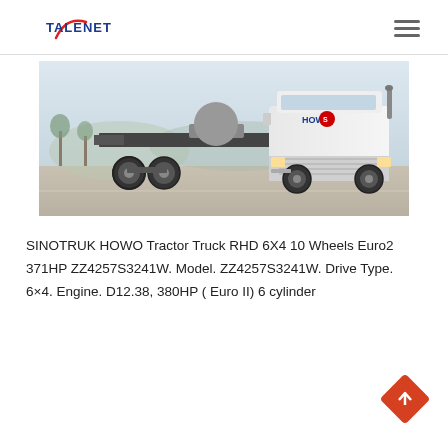TALENET
[Figure (photo): White SINOTRUK HOWO tractor truck (6x4 configuration) parked on a paved surface, showing the cab and rear axles with a fifth wheel coupling visible]
SINOTRUK HOWO Tractor Truck RHD 6X4 10 Wheels Euro2 371HP ZZ4257S3241W. Model. ZZ4257S3241W. Drive Type. 6×4. Engine. D12.38, 380HP ( Euro II) 6 cylinder